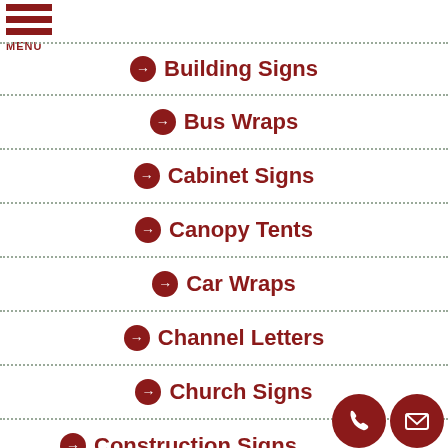[Figure (other): Hamburger menu icon with three dark red bars and MENU label]
Building Signs
Bus Wraps
Cabinet Signs
Canopy Tents
Car Wraps
Channel Letters
Church Signs
Construction Signs